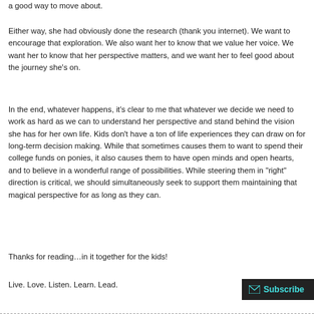a good way to move about.
Either way, she had obviously done the research (thank you internet). We want to encourage that exploration. We also want her to know that we value her voice. We want her to know that her perspective matters, and we want her to feel good about the journey she’s on.
In the end, whatever happens, it’s clear to me that whatever we decide we need to work as hard as we can to understand her perspective and stand behind the vision she has for her own life. Kids don’t have a ton of life experiences they can draw on for long-term decision making. While that sometimes causes them to want to spend their college funds on ponies, it also causes them to have open minds and open hearts, and to believe in a wonderful range of possibilities. While steering them in “right” direction is critical, we should simultaneously seek to support them maintaining that magical perspective for as long as they can.
Thanks for reading…in it together for the kids!
Live. Love. Listen. Learn. Lead.